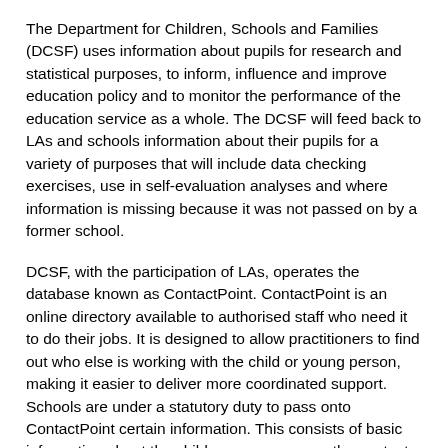The Department for Children, Schools and Families (DCSF) uses information about pupils for research and statistical purposes, to inform, influence and improve education policy and to monitor the performance of the education service as a whole. The DCSF will feed back to LAs and schools information about their pupils for a variety of purposes that will include data checking exercises, use in self-evaluation analyses and where information is missing because it was not passed on by a former school.
DCSF, with the participation of LAs, operates the database known as ContactPoint. ContactPoint is an online directory available to authorised staff who need it to do their jobs. It is designed to allow practitioners to find out who else is working with the child or young person, making it easier to deliver more coordinated support. Schools are under a statutory duty to pass onto ContactPoint certain information. This consists of basic information about the child or young person, the contact details of the school and the contact address and telephone numbers for the parents or carers,/ with parental responsibility [10], of the child or young person.
The DCSF will also provide Ofsted with pupil data for